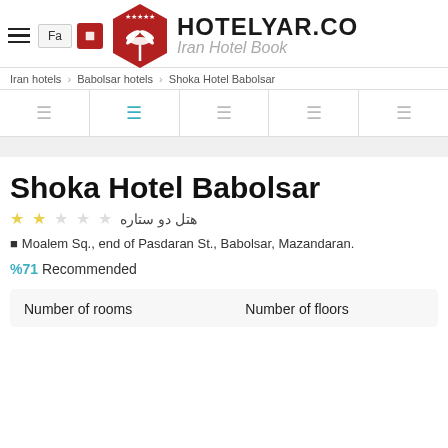HOTELYAR.CO — Iran Hotel Booking
Iran hotels > Babolsar hotels > Shoka Hotel Babolsar
Shoka Hotel Babolsar
هتل دو ستاره
Moalem Sq., end of Pasdaran St., Babolsar, Mazandaran.
%71 Recommended
| Number of rooms | Number of floors |
| --- | --- |